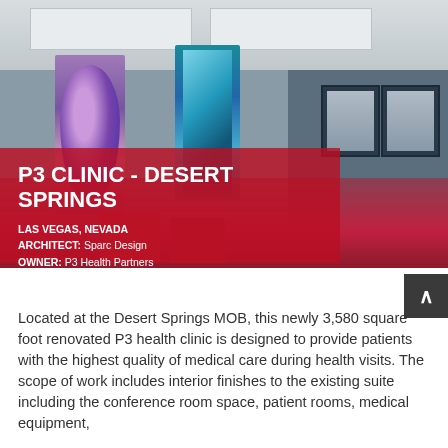[Figure (photo): Interior of P3 Clinic - Desert Springs medical clinic showing a waiting room with colorful floral artwork panels on the wall, red seating chairs, and doctor portrait photos on the right wall. The clinic has modern lighting and a blue-gray color scheme. A red overlay band across the lower portion of the photo displays the clinic name and details.]
P3 CLINIC - DESERT SPRINGS
LAS VEGAS, NEVADA
ARCHITECT: Sparc Design
OWNER: P3 Health Partners
Located at the Desert Springs MOB, this newly 3,580 square foot renovated P3 health clinic is designed to provide patients with the highest quality of medical care during health visits. The scope of work includes interior finishes to the existing suite including the conference room space, patient rooms, medical equipment,